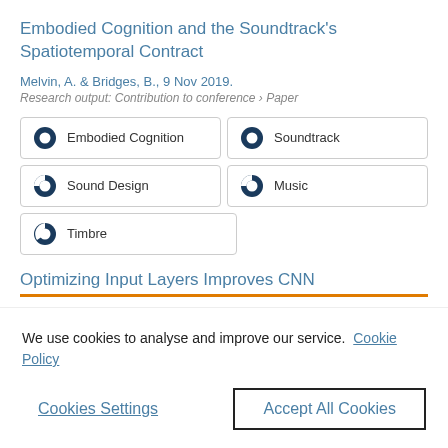Embodied Cognition and the Soundtrack’s Spatiotemporal Contract
Melvin, A. & Bridges, B., 9 Nov 2019.
Research output: Contribution to conference › Paper
Embodied Cognition
Soundtrack
Sound Design
Music
Timbre
Optimizing Input Layers Improves CNN
We use cookies to analyse and improve our service.
Cookie Policy
Cookies Settings
Accept All Cookies